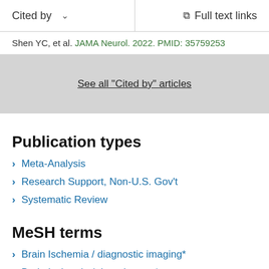Cited by    ∨    Full text links
Shen YC, et al. JAMA Neurol. 2022. PMID: 35759253
See all "Cited by" articles
Publication types
Meta-Analysis
Research Support, Non-U.S. Gov't
Systematic Review
MeSH terms
Brain Ischemia / diagnostic imaging*
Brain Ischemia / drug therapy*